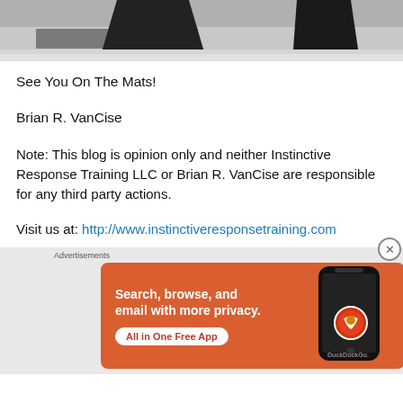[Figure (photo): Grayscale photo showing people on martial arts mats, cropped at top]
See You On The Mats!
Brian R. VanCise
Note: This blog is opinion only and neither Instinctive Response Training LLC or Brian R. VanCise are responsible for any third party actions.
Visit us at: http://www.instinctiveresponsetraining.com
[Figure (screenshot): DuckDuckGo advertisement banner: orange background, text 'Search, browse, and email with more privacy. All in One Free App' with phone graphic and DuckDuckGo logo]